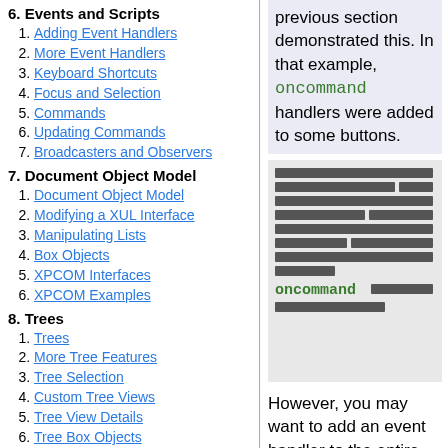6. Events and Scripts
1. Adding Event Handlers
2. More Event Handlers
3. Keyboard Shortcuts
4. Focus and Selection
5. Commands
6. Updating Commands
7. Broadcasters and Observers
7. Document Object Model
1. Document Object Model
2. Modifying a XUL Interface
3. Manipulating Lists
4. Box Objects
5. XPCOM Interfaces
6. XPCOM Examples
8. Trees
1. Trees
2. More Tree Features
3. Tree Selection
4. Custom Tree Views
5. Tree View Details
6. Tree Box Objects
9. RDF and Templates
1. Introduction to RDF
2. Templates
3. Trees and Templates
previous section demonstrated this. In that example, oncommand handlers were added to some buttons.
[Thai text block with oncommand reference]
However, you may want to add an event handler to the entire contents, that is,